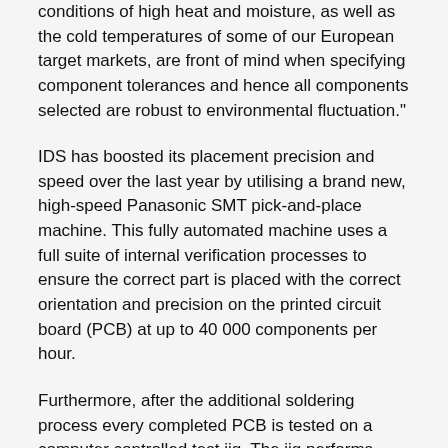conditions of high heat and moisture, as well as the cold temperatures of some of our European target markets, are front of mind when specifying component tolerances and hence all components selected are robust to environmental fluctuation."
IDS has boosted its placement precision and speed over the last year by utilising a brand new, high-speed Panasonic SMT pick-and-place machine. This fully automated machine uses a full suite of internal verification processes to ensure the correct part is placed with the correct orientation and precision on the printed circuit board (PCB) at up to 40 000 components per hour.
Furthermore, after the additional soldering process every completed PCB is tested on a computer controlled test jig. The jig performs physical checks on critical circuitry and parameters necessary for the PCB to function in the field, and once this is complete it loads the latest firmware and confirms product functionality. The test jig is also the gatekeeper for issuing the product a serial number which